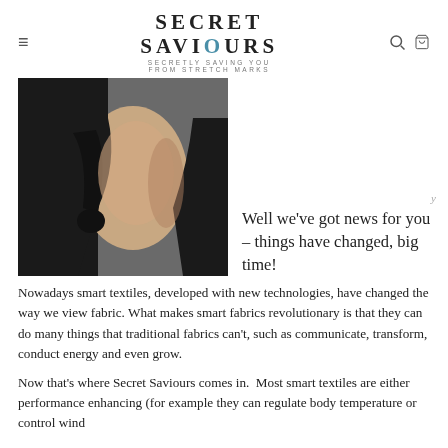SECRET SAVIOURS — SECRETLY SAVING YOU FROM STRETCH MARKS
[Figure (photo): Side profile photo of a pregnant woman in a black outfit against a dark grey background, showing her pregnant belly.]
Well we've got news for you – things have changed, big time!
Nowadays smart textiles, developed with new technologies, have changed the way we view fabric. What makes smart fabrics revolutionary is that they can do many things that traditional fabrics can't, such as communicate, transform, conduct energy and even grow.
Now that's where Secret Saviours comes in.  Most smart textiles are either performance enhancing (for example they can regulate body temperature or control wind